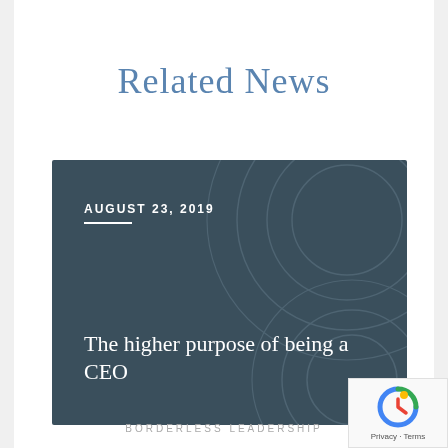Related News
[Figure (illustration): Dark teal card with decorative circular swirl lines, date AUGUST 23, 2019, horizontal white divider line, and title text 'The higher purpose of being a CEO']
BORDERLESS LEADERSHIP